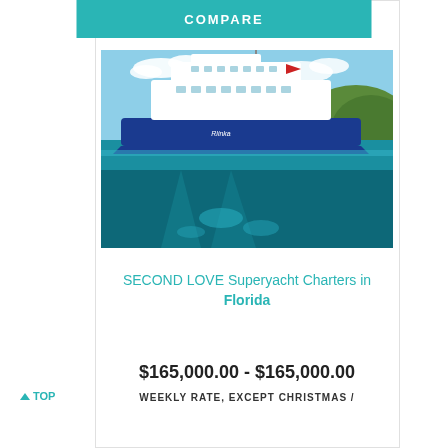COMPARE
[Figure (photo): A luxury superyacht with a dark blue hull and white superstructure photographed half above and half below clear turquoise water, with lush green hills and blue sky in the background.]
SECOND LOVE Superyacht Charters in Florida
$165,000.00 - $165,000.00
WEEKLY RATE, EXCEPT CHRISTMAS /